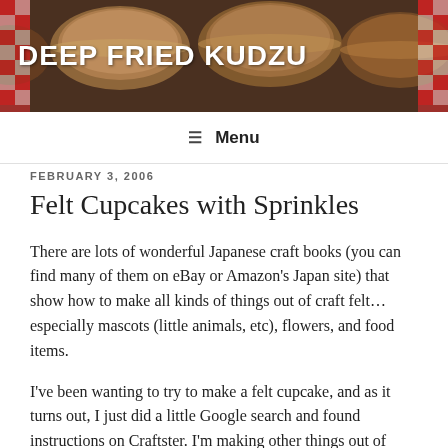[Figure (photo): Header photo showing deep fried foods (pies/pastries) in aluminum tins with a red and white checkered background, with the blog title 'DEEP FRIED KUDZU' overlaid in bold white text]
≡  Menu
FEBRUARY 3, 2006
Felt Cupcakes with Sprinkles
There are lots of wonderful Japanese craft books (you can find many of them on eBay or Amazon's Japan site) that show how to make all kinds of things out of craft felt…especially mascots (little animals, etc), flowers, and food items.
I've been wanting to try to make a felt cupcake, and as it turns out, I just did a little Google search and found instructions on Craftster. I'm making other things out of